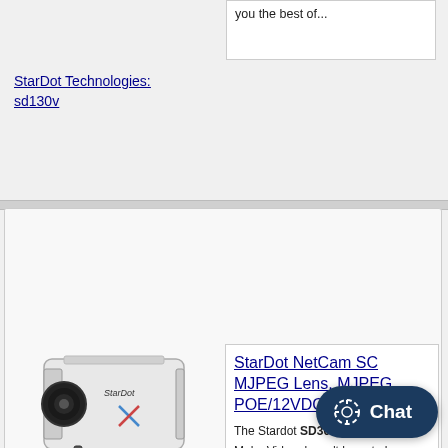you the best of...
StarDot Technologies: sd130v
[Figure (photo): StarDot box-style IP camera SD300B with lens attached, white body with StarDot logo]
StarDot NetCam SC MJPEG Lens, MJPEG, POE/12VDC/2 Auto Iris
The Stardot SD300B Full featured Mul... Video doesn't have to be expensive an... be an IP-only solution. StarDot's new N... you the best...
StarDot Technologies: sd300b
[Figure (photo): Partial view of a white dome-style camera at bottom of page]
[Figure (other): Chat button with circular icon on dark navy background]